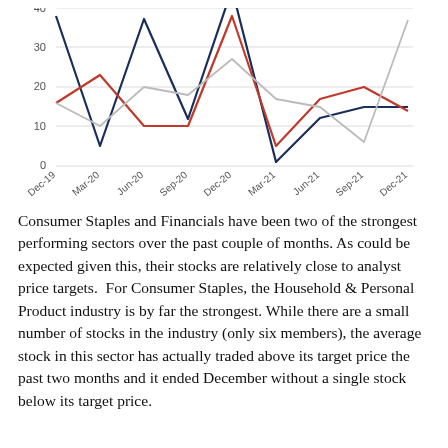[Figure (line-chart): ]
Consumer Staples and Financials have been two of the strongest performing sectors over the past couple of months. As could be expected given this, their stocks are relatively close to analyst price targets.  For Consumer Staples, the Household & Personal Product industry is by far the strongest. While there are a small number of stocks in the industry (only six members), the average stock in this sector has actually traded above its target price the past two months and it ended December without a single stock below its target price.